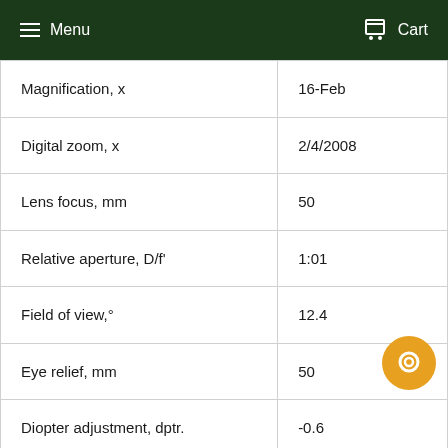Menu  Cart
| Property | Value |
| --- | --- |
| Magnification, x | 16-Feb |
| Digital zoom, x | 2/4/2008 |
| Lens focus, mm | 50 |
| Relative aperture, D/f' | 1:01 |
| Field of view,° | 12.4 |
| Eye relief, mm | 50 |
| Diopter adjustment, dptr. | -0.6 |
| Detection range, m | 1800 |